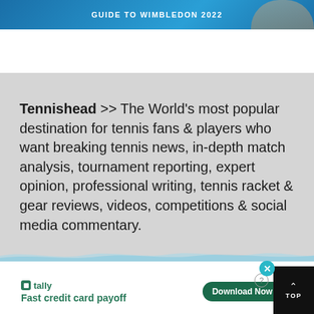[Figure (photo): Top banner with text GUIDE TO WIMBLEDON 2022 on blue background with partial face visible on right side]
Tennishead >> The World's most popular destination for tennis fans & players who want breaking tennis news, in-depth match analysis, tournament reporting, expert opinion, professional writing, tennis racket & gear reviews, videos, competitions & social media commentary.
[Figure (screenshot): Tally advertisement banner: Fast credit card payoff with Download Now button]